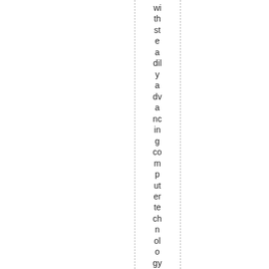withstead a dily advancing computer technology. One n